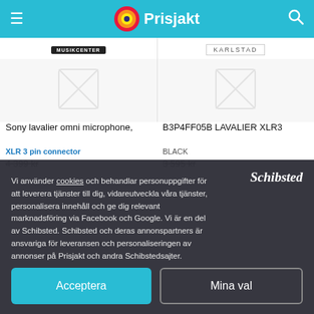Prisjakt
[Figure (logo): Musikcenter store badge]
[Figure (logo): Karlstad store badge]
[Figure (photo): Placeholder image for Sony lavalier product]
[Figure (photo): Placeholder image for B3P4FF05B LAVALIER XLR3 product]
Sony lavalier omni microphone, XLR 3 pin connector
B3P4FF05B LAVALIER XLR3 BLACK
4 399 kr
3 595 kr
Vi använder cookies och behandlar personuppgifter för att leverera tjänster till dig, vidareutveckla våra tjänster, personalisera innehåll och ge dig relevant marknadsföring via Facebook och Google. Vi är en del av Schibsted. Schibsted och deras annonspartners är ansvariga för leveransen och personaliseringen av annonser på Prisjakt och andra Schibstedsajter.
Acceptera
Mina val